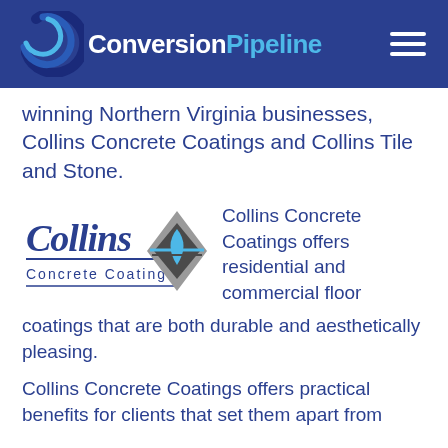Conversion Pipeline
winning Northern Virginia businesses, Collins Concrete Coatings and Collins Tile and Stone.
[Figure (logo): Collins Concrete Coatings logo with stylized 'Collins' text in dark blue and a diamond/water drop geometric icon in grey]
Collins Concrete Coatings offers residential and commercial floor coatings that are both durable and aesthetically pleasing.
Collins Concrete Coatings offers practical benefits for clients that set them apart from